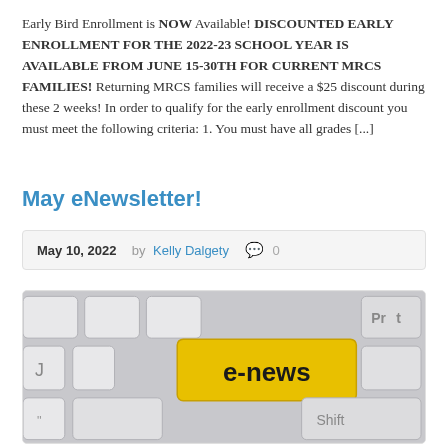Early Bird Enrollment is NOW Available! DISCOUNTED EARLY ENROLLMENT FOR THE 2022-23 SCHOOL YEAR IS AVAILABLE FROM JUNE 15-30TH FOR CURRENT MRCS FAMILIES! Returning MRCS families will receive a $25 discount during these 2 weeks! In order to qualify for the early enrollment discount you must meet the following criteria: 1. You must have all grades [...]
May eNewsletter!
May 10, 2022   by Kelly Dalgety   0
[Figure (photo): Close-up photo of a computer keyboard with a yellow key labeled 'e-news' in bold black text, with white keys visible around it including Prt and Shift keys partially visible.]